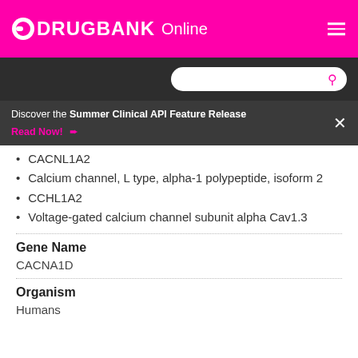DRUGBANK Online
Discover the Summer Clinical API Feature Release Read Now!
CACNL1A2
Calcium channel, L type, alpha-1 polypeptide, isoform 2
CCHL1A2
Voltage-gated calcium channel subunit alpha Cav1.3
Gene Name
CACNA1D
Organism
Humans